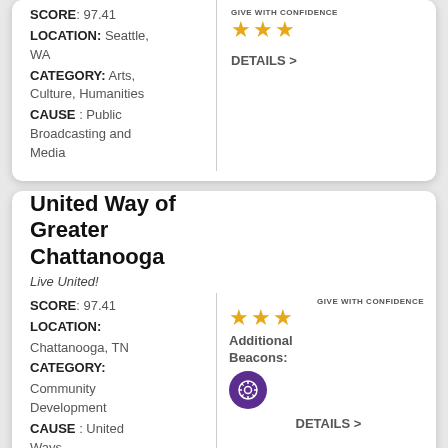SCORE: 97.41 | LOCATION: Seattle, WA | CATEGORY: Arts, Culture, Humanities | CAUSE: Public Broadcasting and Media
[Figure (other): Give With Confidence rating: 3 gold stars. DETAILS >]
United Way of Greater Chattanooga
Live United!
SCORE: 97.41 | LOCATION: Chattanooga, TN | CATEGORY: Community Development | CAUSE: United Ways (Grantmaking/Grants
[Figure (other): Give With Confidence rating: 3 gold stars. Additional Beacons: beacon icon. DETAILS >]